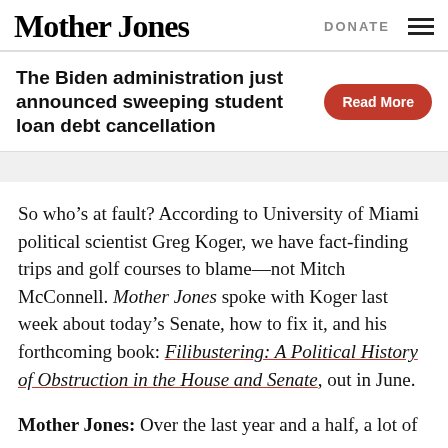Mother Jones   DONATE
The Biden administration just announced sweeping student loan debt cancellation
Read More
So who’s at fault? According to University of Miami political scientist Greg Koger, we have fact-finding trips and golf courses to blame—not Mitch McConnell. Mother Jones spoke with Koger last week about today’s Senate, how to fix it, and his forthcoming book: Filibustering: A Political History of Obstruction in the House and Senate, out in June.
Mother Jones: Over the last year and a half, a lot of journalists have used the filibuster to argue that...